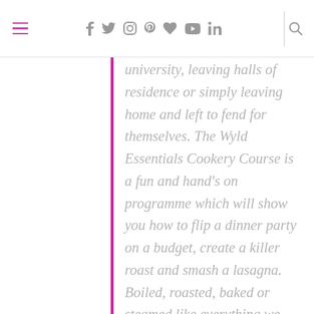Navigation header with hamburger menu, social icons (f, twitter, instagram, pinterest, heart, youtube, in), and search
university, leaving halls of residence or simply leaving home and left to fend for themselves. The Wyld Essentials Cookery Course is a fun and hand's on programme which will show you how to flip a dinner party on a budget, create a killer roast and smash a lasagna. Boiled, roasted, baked or steamed like everything we do, we cut out the nonsense and get into the detail that will leave you armed with a solid menu repertoire and confidence to tackle most recipes